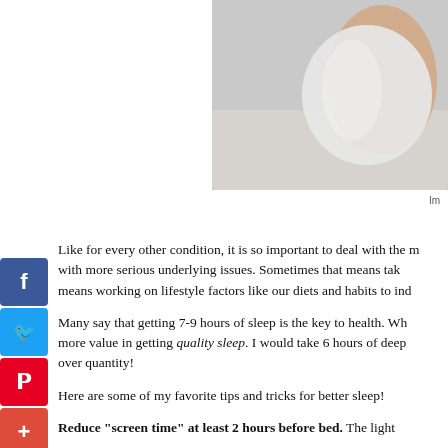[Figure (photo): Close-up photo of a person lying on a light gray surface, wearing a white top, with arm visible, suggesting a resting or sleeping pose.]
Im
Like for every other condition, it is so important to deal with the more serious underlying issues. Sometimes that means tak means working on lifestyle factors like our diets and habits to ind
Many say that getting 7-9 hours of sleep is the key to health. Wh more value in getting quality sleep. I would take 6 hours of deep over quantity!
Here are some of my favorite tips and tricks for better sleep!
Reduce “screen time” at least 2 hours before bed. The light